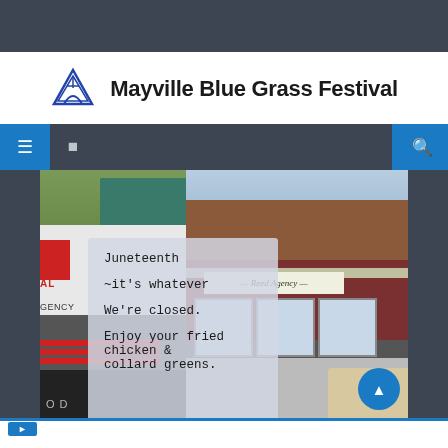Mayville Blue Grass Festival
[Figure (screenshot): Website screenshot of Mayville Blue Grass Festival page showing navigation bar, photo collage with a sign overlay reading 'Juneteenth ~it's whatever We're closed. Enjoy your fried chicken & collard greens.' and a street view of businesses including Reed Agency]
Juneteenth
~it's whatever
We're closed.
Enjoy your fried chicken &
collard greens.